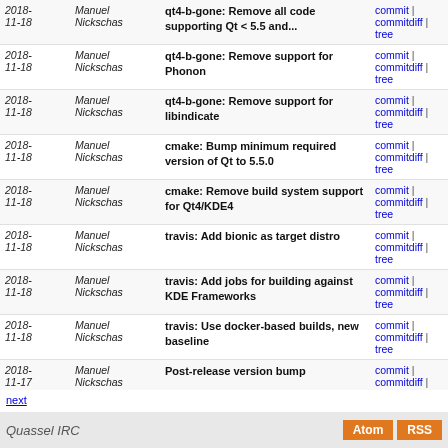| Date | Author | Message | Links |
| --- | --- | --- | --- |
| 2018-11-18 | Manuel Nickschas | qt4-b-gone: Remove all code supporting Qt < 5.5 and... | commit | commitdiff | tree |
| 2018-11-18 | Manuel Nickschas | qt4-b-gone: Remove support for Phonon | commit | commitdiff | tree |
| 2018-11-18 | Manuel Nickschas | qt4-b-gone: Remove support for libindicate | commit | commitdiff | tree |
| 2018-11-18 | Manuel Nickschas | cmake: Bump minimum required version of Qt to 5.5.0 | commit | commitdiff | tree |
| 2018-11-18 | Manuel Nickschas | cmake: Remove build system support for Qt4/KDE4 | commit | commitdiff | tree |
| 2018-11-18 | Manuel Nickschas | travis: Add bionic as target distro | commit | commitdiff | tree |
| 2018-11-18 | Manuel Nickschas | travis: Add jobs for building against KDE Frameworks | commit | commitdiff | tree |
| 2018-11-18 | Manuel Nickschas | travis: Use docker-based builds, new baseline | commit | commitdiff | tree |
| 2018-11-17 | Manuel Nickschas | Post-release version bump | commit | commitdiff | tree |
| 2018-11-17 | Manuel Nickschas | Bump version for release | commit | commitdiff | tree |
| 2018-11-17 | Manuel Nickschas | Update ChangeLog | commit | commitdiff | tree |
next
Quassel IRC  Atom RSS